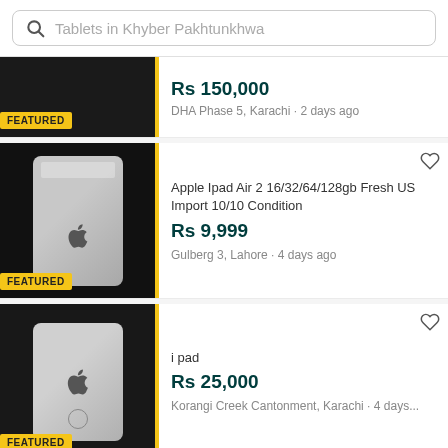Tablets in Khyber Pakhtunkhwa
Rs 150,000 | DHA Phase 5, Karachi · 2 days ago | FEATURED
Apple Ipad Air 2 16/32/64/128gb Fresh US Import 10/10 Condition | Rs 9,999 | Gulberg 3, Lahore · 4 days ago | FEATURED
i pad | Rs 25,000 | Korangi Creek Cantonment, Karachi · 4 days... | FEATURED
8/256 space grey, 2020 13.3 inches LL/A NON Active | + SELL